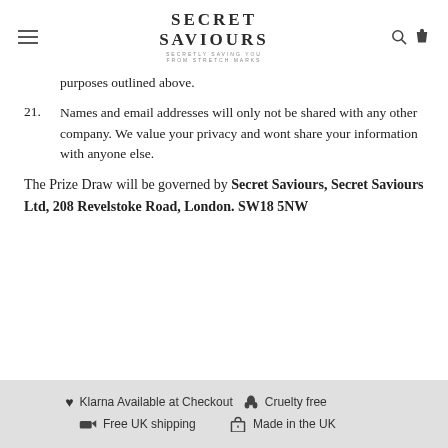SECRET SAVIOURS — SECRETLY SAVING YOU FROM STRETCH MARKS
purposes outlined above.
21. Names and email addresses will only not be shared with any other company. We value your privacy and wont share your information with anyone else.
The Prize Draw will be governed by Secret Saviours, Secret Saviours Ltd, 208 Revelstoke Road, London. SW18 5NW
♥ Klarna Available at Checkout   🐇 Cruelty free   🚚 Free UK shipping   🎁 Made in the UK